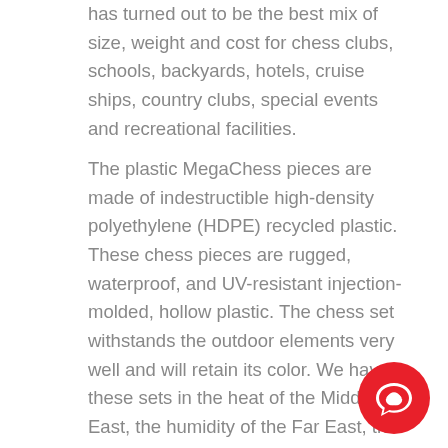has turned out to be the best mix of size, weight and cost for chess clubs, schools, backyards, hotels, cruise ships, country clubs, special events and recreational facilities.
The plastic MegaChess pieces are made of indestructible high-density polyethylene (HDPE) recycled plastic. These chess pieces are rugged, waterproof, and UV-resistant injection-molded, hollow plastic. The chess set withstands the outdoor elements very well and will retain its color. We have these sets in the heat of the Middle East, the humidity of the Far East, the cold of the Rocky Mountains and the salty air, sun and sand of the Southern California beaches.
[Figure (other): Red circular chat/messaging button with a speech bubble icon]